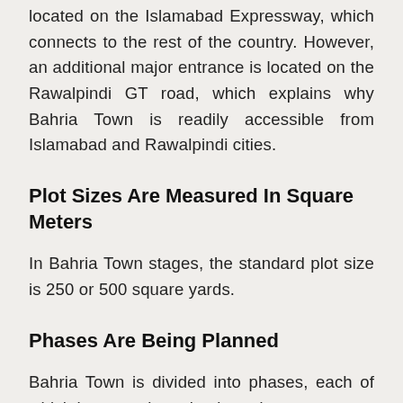located on the Islamabad Expressway, which connects to the rest of the country. However, an additional major entrance is located on the Rawalpindi GT road, which explains why Bahria Town is readily accessible from Islamabad and Rawalpindi cities.
Plot Sizes Are Measured In Square Meters
In Bahria Town stages, the standard plot size is 250 or 500 square yards.
Phases Are Being Planned
Bahria Town is divided into phases, each of which has an orientation based on...